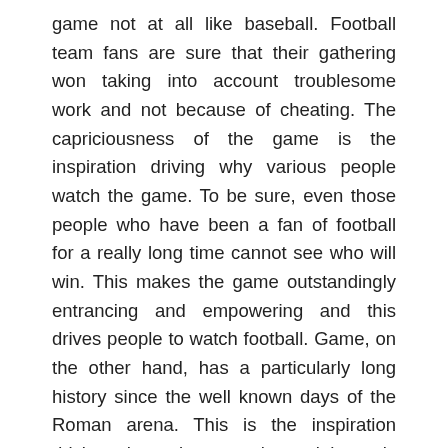game not at all like baseball. Football team fans are sure that their gathering won taking into account troublesome work and not because of cheating. The capriciousness of the game is the inspiration driving why various people watch the game. To be sure, even those people who have been a fan of football for a really long time cannot see who will win. This makes the game outstandingly entrancing and empowering and this drives people to watch football. Game, on the other hand, has a particularly long history since the well known days of the Roman arena. This is the inspiration driving why various people are inherently reliant or consistent to any game. Whether or not during the times of yesteryear, men are the primary ones who play and like games; various women today like survey different kinds of sports. Various women are similarly enthusiastic aficionados of football